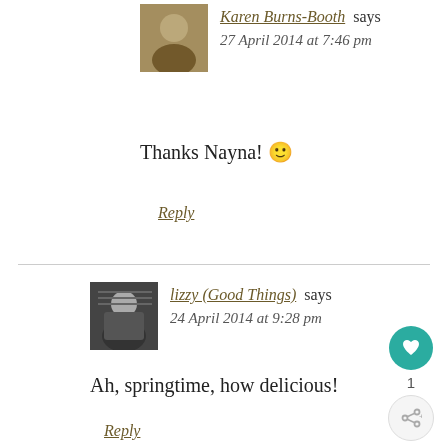Karen Burns-Booth says
27 April 2014 at 7:46 pm
Thanks Nayna! 🙂
Reply
lizzy (Good Things) says
24 April 2014 at 9:28 pm
Ah, springtime, how delicious!
Reply